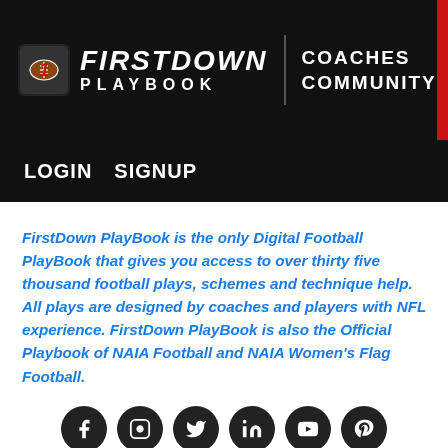[Figure (logo): FirstDown PlayBook Coaches Community logo on black background]
LOGIN   SIGNUP
FirstDown PlayBook is the only Digital Football PlayBook that gives you access to over thirty five thousand football plays, schemes and technique help. All plays are designed by coaches and players with NFL experience. FirstDown PlayBook is also the Official Playbook of NAIA Football and NAIA Women's Flag Football.
[Figure (infographic): Row of six social media icon circles: Facebook, Instagram, Twitter, LinkedIn, YouTube, Pinterest]